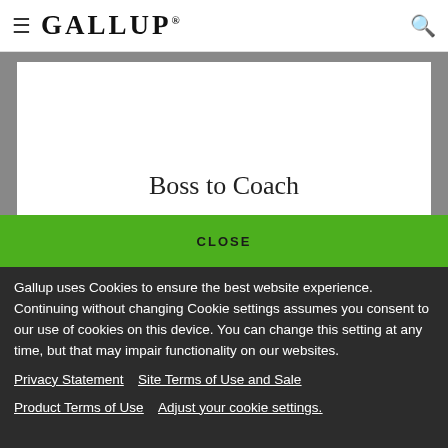≡ GALLUP 🔍
[Figure (illustration): White card partially visible showing the text 'Boss to Coach' in serif font, overlaid on a gray background]
CLOSE
Gallup uses Cookies to ensure the best website experience. Continuing without changing Cookie settings assumes you consent to our use of cookies on this device. You can change this setting at any time, but that may impair functionality on our websites.
Privacy Statement   Site Terms of Use and Sale
Product Terms of Use   Adjust your cookie settings.